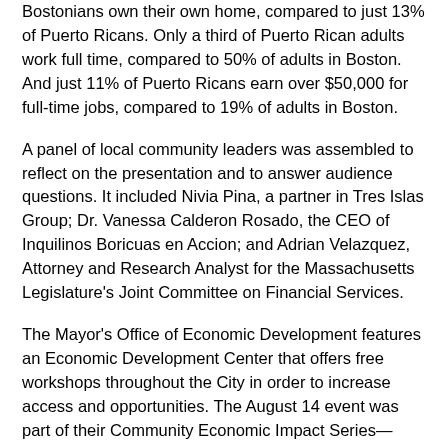Bostonians own their own home, compared to just 13% of Puerto Ricans. Only a third of Puerto Rican adults work full time, compared to 50% of adults in Boston. And just 11% of Puerto Ricans earn over $50,000 for full-time jobs, compared to 19% of adults in Boston.
A panel of local community leaders was assembled to reflect on the presentation and to answer audience questions. It included Nivia Pina, a partner in Tres Islas Group; Dr. Vanessa Calderon Rosado, the CEO of Inquilinos Boricuas en Accion; and Adrian Velazquez, Attorney and Research Analyst for the Massachusetts Legislature's Joint Committee on Financial Services.
The Mayor's Office of Economic Development features an Economic Development Center that offers free workshops throughout the City in order to increase access and opportunities. The August 14 event was part of their Community Economic Impact Series—meetings held around the city showing how different ethnic groups are participating in Boston's economy.